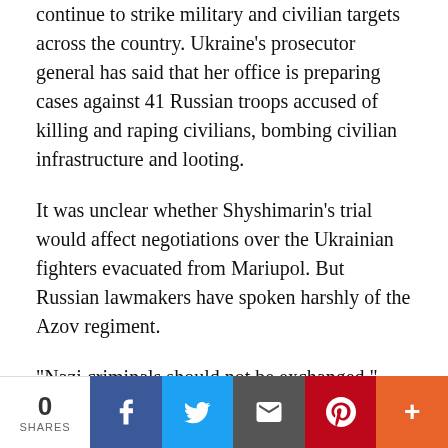continue to strike military and civilian targets across the country. Ukraine's prosecutor general has said that her office is preparing cases against 41 Russian troops accused of killing and raping civilians, bombing civilian infrastructure and looting.
It was unclear whether Shyshimarin's trial would affect negotiations over the Ukrainian fighters evacuated from Mariupol. But Russian lawmakers have spoken harshly of the Azov regiment.
“Nazi criminals should not be exchanged,” Vyacheslav Volodin, speaker of Russia’s lower house, the Duma, said Tuesday about the Ukrainian prisoners, who are being held in a former penal colony in a Russian-controlled part of eastern Ukraine.
Investigators in the Kremlin have already indicated that they
0 SHARES | Facebook | Twitter | Email | Pinterest | More